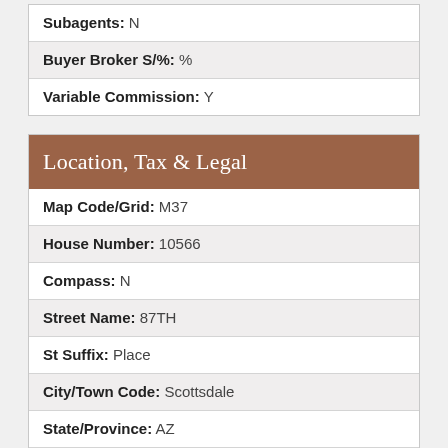| Subagents: N |
| Buyer Broker S/%: % |
| Variable Commission: Y |
Location, Tax & Legal
| Map Code/Grid: M37 |
| House Number: 10566 |
| Compass: N |
| Street Name: 87TH |
| St Suffix: Place |
| City/Town Code: Scottsdale |
| State/Province: AZ |
| Zip Code: 85258 |
| Zip4: 1430 |